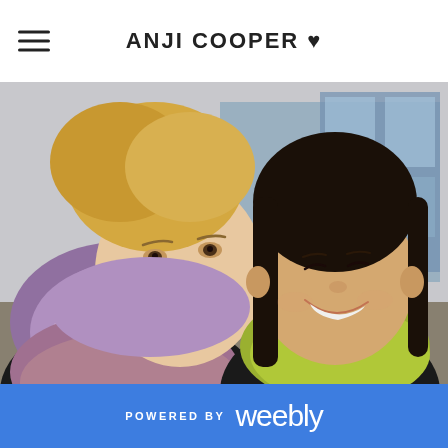ANJI COOPER ♥
[Figure (photo): Selfie photo of two people: a young blonde woman wearing a purple/mauve floral scarf covering the lower part of her face, and a young Asian girl smiling brightly wearing a yellow-green knit scarf, taken outdoors with buildings in the background.]
POWERED BY weebly